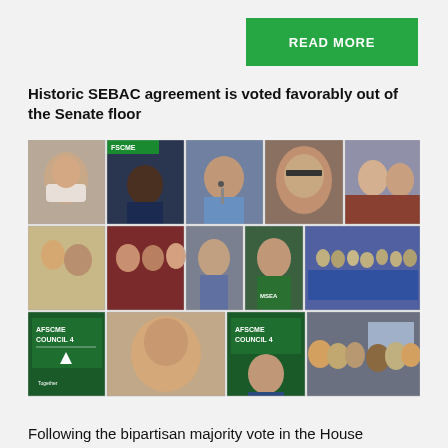READ MORE
Historic SEBAC agreement is voted favorably out of the Senate floor
[Figure (photo): A collage of 14 photos arranged in a 5-column, 3-row grid showing various people associated with AFSCME Council 4 and SEBAC agreement activities, including individuals wearing masks, speaking at podiums, group photos, and AFSCME Council 4 banners.]
Following the bipartisan majority vote in the House